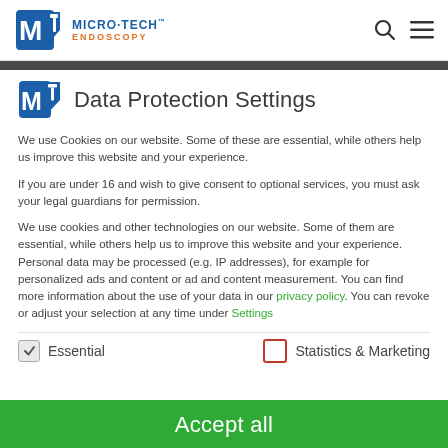MICRO·TECH ENDOSCOPY
Data Protection Settings
We use Cookies on our website. Some of these are essential, while others help us improve this website and your experience.
If you are under 16 and wish to give consent to optional services, you must ask your legal guardians for permission.
We use cookies and other technologies on our website. Some of them are essential, while others help us to improve this website and your experience. Personal data may be processed (e.g. IP addresses), for example for personalized ads and content or ad and content measurement. You can find more information about the use of your data in our privacy policy. You can revoke or adjust your selection at any time under Settings.
Essential   Statistics & Marketing
Accept all